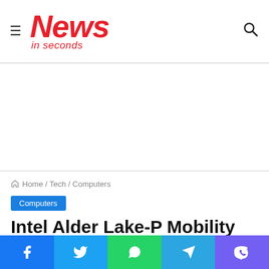News in seconds
[Figure (other): Advertisement banner area (blank white space)]
Home / Tech / Computers
Computers
Intel Alder Lake-P Mobility CPUs Spotted With Benchmarks, 14 Core With 20
Facebook | Twitter | WhatsApp | Telegram | Viber social share buttons